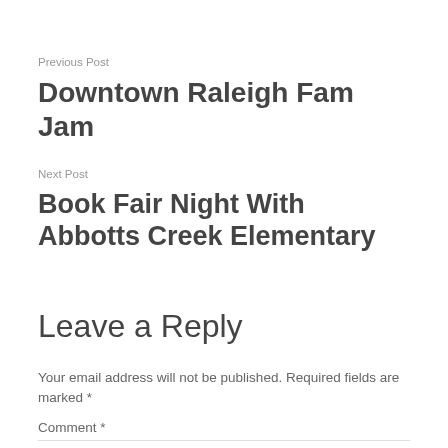Previous Post
Downtown Raleigh Fam Jam
Next Post
Book Fair Night With Abbotts Creek Elementary
Leave a Reply
Your email address will not be published. Required fields are marked *
Comment *